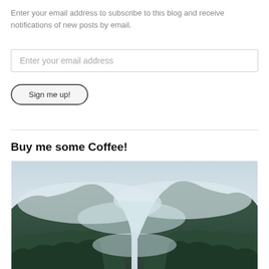Enter your email address to subscribe to this blog and receive notifications of new posts by email.
[Figure (other): Email input field placeholder: Enter your email address]
[Figure (other): Sign me up! button with rounded border]
Buy me some Coffee!
[Figure (photo): Misty mountain landscape with green trees and low clouds/fog covering tree-covered hills with a valley in the center]